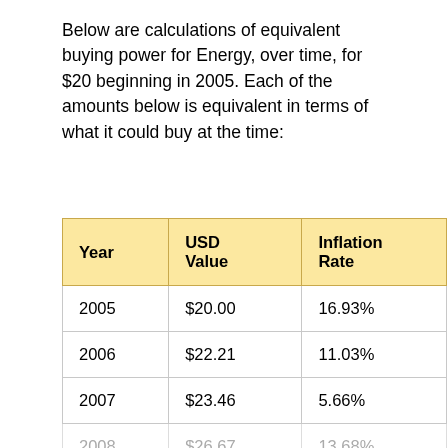Below are calculations of equivalent buying power for Energy, over time, for $20 beginning in 2005. Each of the amounts below is equivalent in terms of what it could buy at the time:
| Year | USD Value | Inflation Rate |
| --- | --- | --- |
| 2005 | $20.00 | 16.93% |
| 2006 | $22.21 | 11.03% |
| 2007 | $23.46 | 5.66% |
| 2008 | $26.67 | 13.68% |